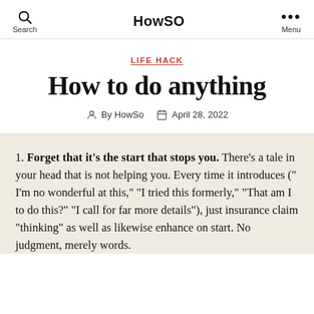HowSO
LIFE HACK
How to do anything
By HowSo   April 28, 2022
1. Forget that it's the start that stops you. There's a tale in your head that is not helping you. Every time it introduces (“ I’m no wonderful at this,” “I tried this formerly,” “That am I to do this?” “I call for far more details”), just insurance claim “thinking” as well as likewise enhance on start. No judgment, merely words.